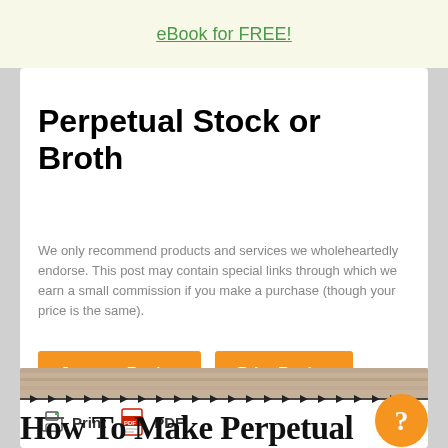eBook for FREE!
Perpetual Stock or Broth
We only recommend products and services we wholeheartedly endorse. This post may contain special links through which we earn a small commission if you make a purchase (though your price is the same).
Jump to Recipe
Print Recipe
Print  PDF
How To Make Perpetual